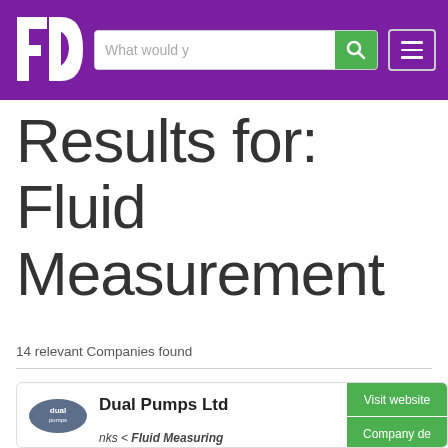[Figure (logo): FD logo — white letters F and D on purple background]
Results for: Fluid Measurement
14 relevant Companies found
Dual Pumps Ltd
nks < Fluid Measuring Components > Pressure Gauges Flow Meters < Tank & IBC